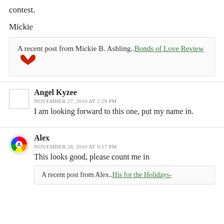contest.
Mickie
A recent post from Mickie B. Ashling..Bonds of Love Review
Angel Kyzee
NOVEMBER 27, 2010 AT 2:29 PM
I am looking forward to this one, put my name in.
Alex
NOVEMBER 28, 2010 AT 9:17 PM
This looks good, please count me in
A recent post from Alex..His for the Holidays-